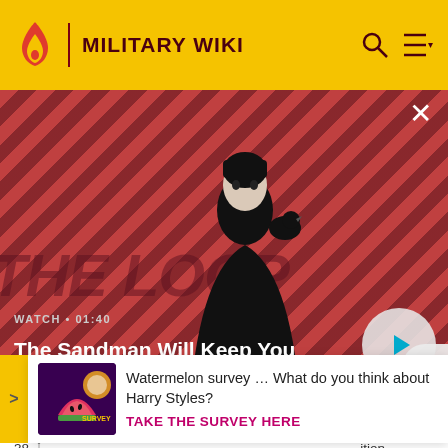MILITARY WIKI
[Figure (screenshot): Video thumbnail for 'The Sandman Will Keep You Awake - The Loop' showing a dark figure with a raven on a red diagonal-striped background. Duration: 01:40]
ID=514434. Retrieved 28 April 2013.
37. ↑ "Is Swedish neutrality over?". Pravda. 11 December...
[Figure (infographic): Watermelon survey ad with colorful image. Text: Watermelon survey … What do you think about Harry Styles? TAKE THE SURVEY HERE]
38. ↑ ...ition